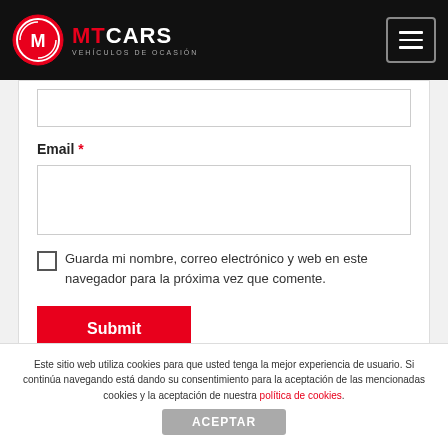[Figure (logo): MT Cars logo with red circular emblem and text MTCARS VEHÍCULOS DE OCASIÓN on black header bar]
Email *
[Figure (screenshot): Empty text input field for Email]
Guarda mi nombre, correo electrónico y web en este navegador para la próxima vez que comente.
Submit
Este sitio web utiliza cookies para que usted tenga la mejor experiencia de usuario. Si continúa navegando está dando su consentimiento para la aceptación de las mencionadas cookies y la aceptación de nuestra política de cookies.
ACEPTAR